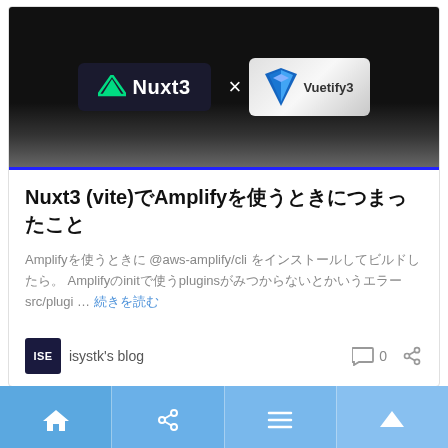[Figure (screenshot): Blog card image showing Nuxt3 x Vuetify3 logos on dark background with blue border]
Nuxt3 (vite)でAmplifyを使うときにつまったこと
Amplifyを使うときに @aws-amplify/cli をインストールしてビルドしたら。 Amplifyのinitで使うpluginsがみつからないとかいうエラー src/plugi … 続きを読む
ISE isystk's blog
[Figure (screenshot): Navigation bar with home, share, menu, and up arrow icons on light blue background]